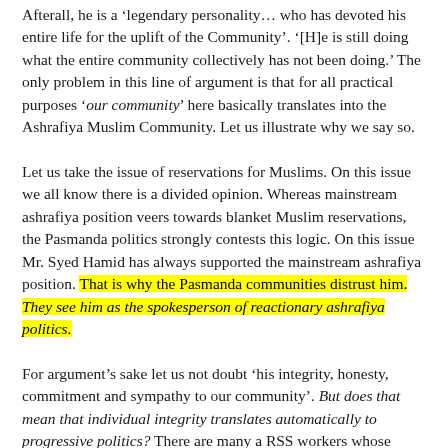Afterall, he is a 'legendary personality… who has devoted his entire life for the uplift of the Community'. '[H]e is still doing what the entire community collectively has not been doing.' The only problem in this line of argument is that for all practical purposes 'our community' here basically translates into the Ashrafiya Muslim Community. Let us illustrate why we say so.
Let us take the issue of reservations for Muslims. On this issue we all know there is a divided opinion. Whereas mainstream ashrafiya position veers towards blanket Muslim reservations, the Pasmanda politics strongly contests this logic. On this issue Mr. Syed Hamid has always supported the mainstream ashrafiya position. That is why the Pasmanda communities distrust him. They see him as the spokesperson of reactionary ashrafiya politics.
For argument's sake let us not doubt 'his integrity, honesty, commitment and sympathy to our community'. But does that mean that individual integrity translates automatically to progressive politics? There are many a RSS workers whose integrity is beyond